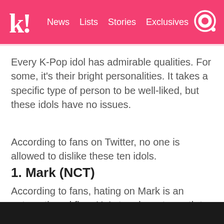k! News Lists Stories Exclusives
Every K-Pop idol has admirable qualities. For some, it's their bright personalities. It takes a specific type of person to be well-liked, but these idols have no issues.
According to fans on Twitter, no one is allowed to dislike these ten idols.
1. Mark (NCT)
According to fans, hating on Mark is an automatic red flag. He’s too down-to-earth to dislike.
[Figure (photo): Dark image strip at the bottom of the page]